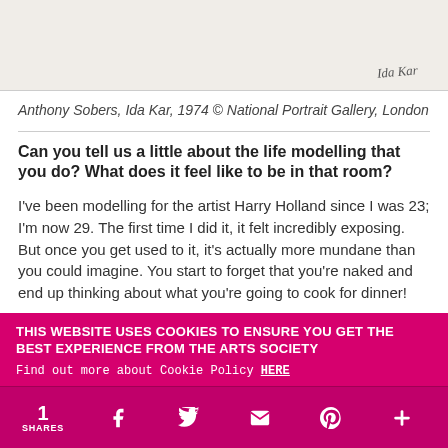[Figure (photo): Faded/light photograph or artwork area with a cursive signature in the bottom right corner reading 'Ida Kar' or similar]
Anthony Sobers, Ida Kar, 1974 © National Portrait Gallery, London
Can you tell us a little about the life modelling that you do? What does it feel like to be in that room?
I've been modelling for the artist Harry Holland since I was 23; I'm now 29. The first time I did it, it felt incredibly exposing. But once you get used to it, it's actually more mundane than you could imagine. You start to forget that you're naked and end up thinking about what you're going to cook for dinner!
THIS WEBSITE USES COOKIES TO ENSURE YOU GET THE BEST EXPERIENCE FROM THE ARTS SOCIETY
Find out more about Cookie Policy HERE
1 SHARES